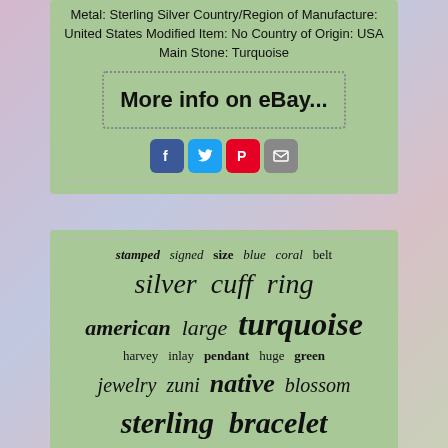Metal: Sterling Silver Country/Region of Manufacture: United States Modified Item: No Country of Origin: USA Main Stone: Turquoise
More info on eBay...
[Figure (infographic): Social sharing icons: Facebook (blue), Twitter (light blue), Pinterest (red), Email (grey)]
[Figure (infographic): Tag cloud with words: stamped, signed, size, blue, coral, belt, silver, cuff, ring, american, large, turquoise, harvey, inlay, pendant, huge, green, jewelry, zuni, native, blossom, sterling, bracelet — sized by frequency/importance]